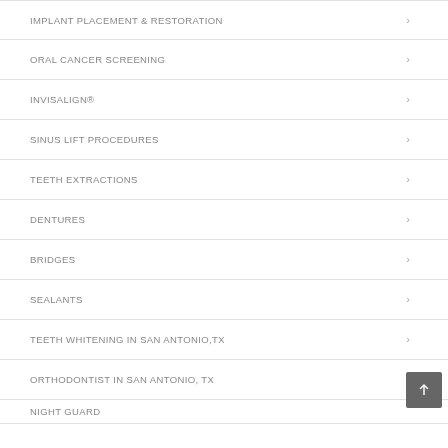IMPLANT PLACEMENT & RESTORATION
ORAL CANCER SCREENING
INVISALIGN®
SINUS LIFT PROCEDURES
TEETH EXTRACTIONS
DENTURES
BRIDGES
SEALANTS
TEETH WHITENING IN SAN ANTONIO,TX
ORTHODONTIST IN SAN ANTONIO, TX
NIGHT GUARD